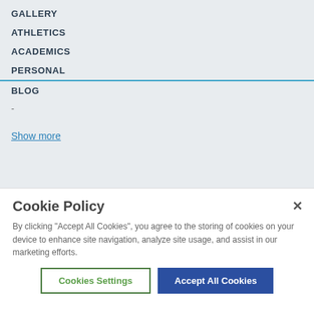GALLERY
ATHLETICS
ACADEMICS
PERSONAL
BLOG
-
Show more
Cookie Policy
By clicking "Accept All Cookies", you agree to the storing of cookies on your device to enhance site navigation, analyze site usage, and assist in our marketing efforts.
Cookies Settings
Accept All Cookies